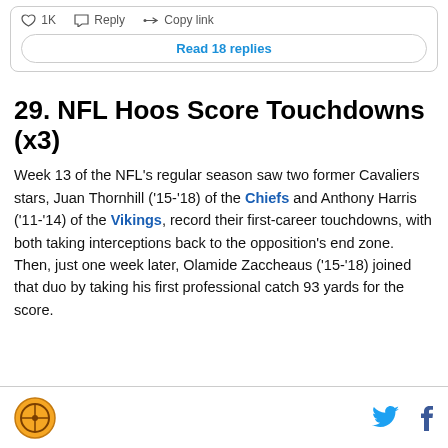[Figure (screenshot): Top UI bar with like count (1K), Reply, Copy link actions and a 'Read 18 replies' button]
29. NFL Hoos Score Touchdowns (x3)
Week 13 of the NFL's regular season saw two former Cavaliers stars, Juan Thornhill ('15-'18) of the Chiefs and Anthony Harris ('11-'14) of the Vikings, record their first-career touchdowns, with both taking interceptions back to the opposition's end zone. Then, just one week later, Olamide Zaccheaus ('15-'18) joined that duo by taking his first professional catch 93 yards for the score.
Logo and social media icons (Twitter, Facebook)